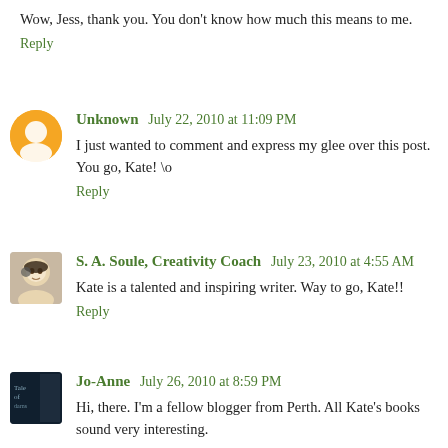Wow, Jess, thank you. You don't know how much this means to me.
Reply
Unknown July 22, 2010 at 11:09 PM
I just wanted to comment and express my glee over this post. You go, Kate! \o
Reply
S. A. Soule, Creativity Coach July 23, 2010 at 4:55 AM
Kate is a talented and inspiring writer. Way to go, Kate!!
Reply
Jo-Anne July 26, 2010 at 8:59 PM
Hi, there. I'm a fellow blogger from Perth. All Kate's books sound very interesting.